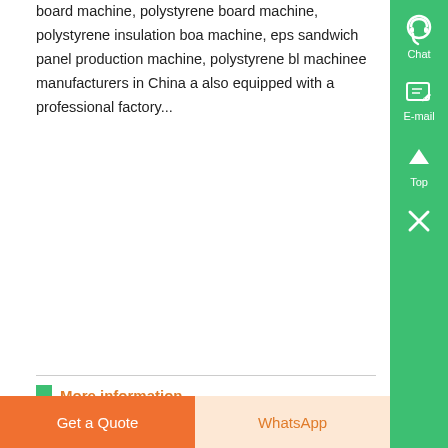board machine, polystyrene board machine, polystyrene insulation board machine, eps sandwich panel production machine, polystyrene block machinee manufacturers in China and also equipped with a professional factory...
More information
[Figure (photo): Industrial EPS moulding machine equipment, gray metal funnel/hopper structure in a factory setting]
Used Eps Moulding Machines for sale Oyade equipment ,
Search for used eps moulding machines. Find Oyade, Hongfa, and Semc for sale on Machinio...
Get a Quote
WhatsApp